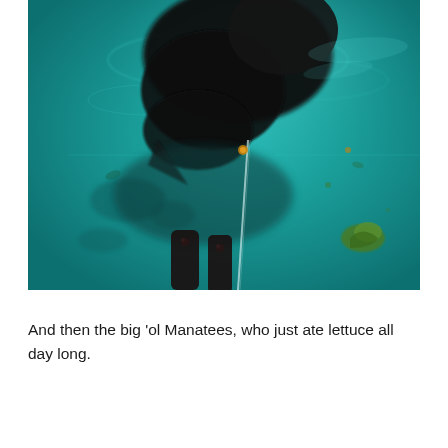[Figure (photo): Underwater photograph of a large manatee in a teal/turquoise aquarium tank, viewed from above. The manatee's dark body is visible near the top, with pieces of lettuce and dark flipper-like structures at the bottom. A glass divider is visible in the middle of the tank.]
And then the big 'ol Manatees, who just ate lettuce all day long.